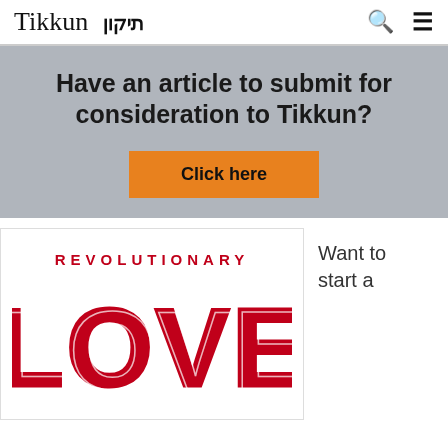Tikkun תיקון
Have an article to submit for consideration to Tikkun?
Click here
[Figure (illustration): Book cover showing 'REVOLUTIONARY LOVE' in large red text]
Want to start a